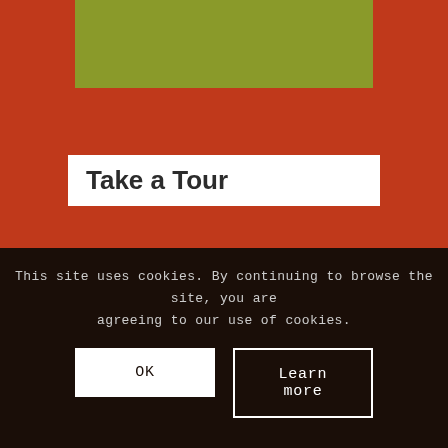[Figure (photo): Partial green/olive colored image at top of page, likely a nursery or garden photo]
Take a Tour
If you would like to view our nursery please call 0203 092 4933 and we will be happy to arrange a time that suits.
This site uses cookies. By continuing to browse the site, you are agreeing to our use of cookies.
OK
Learn more